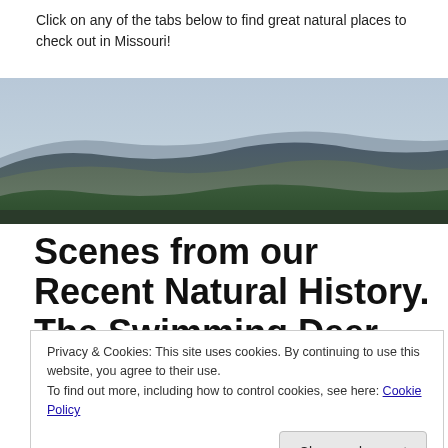Click on any of the tabs below to find great natural places to check out in Missouri!
[Figure (photo): Panoramic landscape photograph showing rolling forested hills and mountains under an overcast sky, taken from an elevated vantage point.]
Scenes from our Recent Natural History. The Swimming Deer Trail, St. Francois State
Privacy & Cookies: This site uses cookies. By continuing to use this website, you agree to their use.
To find out more, including how to control cookies, see here: Cookie Policy

[Close and accept]
[Figure (photo): Partial view of a trail or park scene at the bottom of the page.]